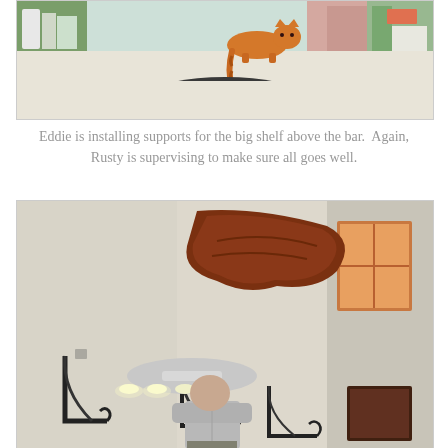[Figure (photo): An orange tabby cat walking along the top of a bar or counter wall, with a black leather chair visible below and shelves/items in the background. A person in a pink shirt is visible in the background.]
Eddie is installing supports for the big shelf above the bar.  Again, Rusty is supervising to make sure all goes well.
[Figure (photo): A man standing with his back to the camera looking up at a high ceiling where decorative wrought iron shelf brackets are mounted on the wall. A wooden decorative piece is on the upper wall. A ceiling fan is visible and there are windows on the right showing daylight.]